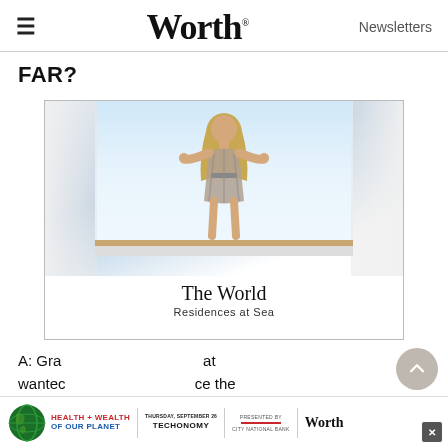≡  Worth  Newsletters
FAR?
[Figure (photo): Advertisement for The World Residences at Sea. Photo of a woman with arms spread wide opening white curtains to an ocean view. Text reads 'The World Residences at Sea'.]
A: Gra at wantec ce the
[Figure (infographic): Bottom banner ad: Health + Wealth of Our Planet event, presented by Techonomy and Worth, City National Bank. Globe icon on left. Close button on right.]